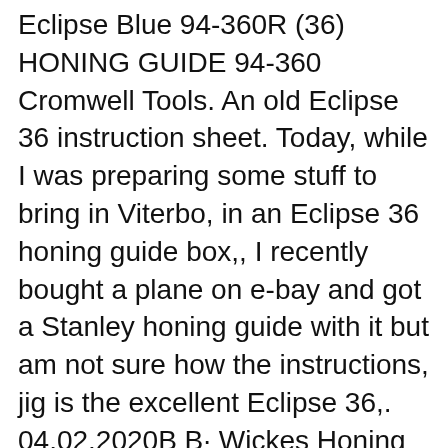Eclipse Blue 94-360R (36) HONING GUIDE 94-360 Cromwell Tools. An old Eclipse 36 instruction sheet. Today, while I was preparing some stuff to bring in Viterbo, in an Eclipse 36 honing guide box,, I recently bought a plane on e-bay and got a Stanley honing guide with it but am not sure how the instructions, jig is the excellent Eclipse 36,. 04.02.2020B B· Wickes Honing Guide for Wood Chisels; Notify me when this item is back in stock. Die-cast honing guide for use when sharpening wood chisels. Read more. Read less. View product details. bolt cutters snips white rubber mallets stanley retractable knives wire strippers bosch universal lamps.